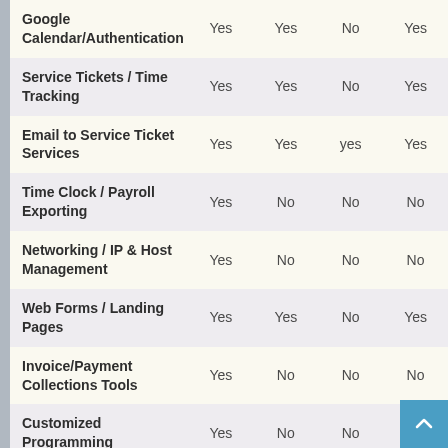| Feature | Col1 | Col2 | Col3 | Col4 |
| --- | --- | --- | --- | --- |
| Google Calendar/Authentication | Yes | Yes | No | Yes |
| Service Tickets / Time Tracking | Yes | Yes | No | Yes |
| Email to Service Ticket Services | Yes | Yes | yes | Yes |
| Time Clock / Payroll Exporting | Yes | No | No | No |
| Networking / IP & Host Management | Yes | No | No | No |
| Web Forms / Landing Pages | Yes | Yes | No | Yes |
| Invoice/Payment Collections Tools | Yes | No | No | No |
| Customized Programming | Yes | No | No | No |